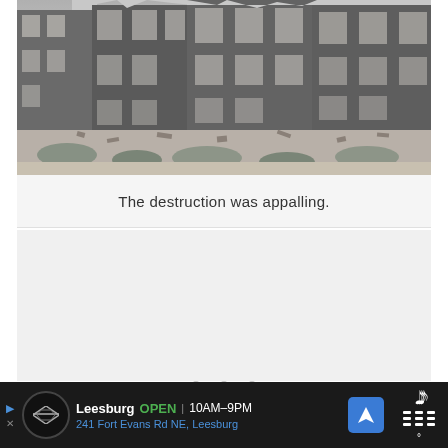[Figure (photo): Black and white photograph of bombed/destroyed buildings showing ruins of multi-story brick structures with empty window frames, rubble and debris scattered on the ground, overgrown with weeds.]
The destruction was appalling.
[Figure (other): Blank slide/carousel area with three dot navigation indicators at the bottom]
Leesburg  OPEN | 10AM–9PM  241 Fort Evans Rd NE, Leesburg